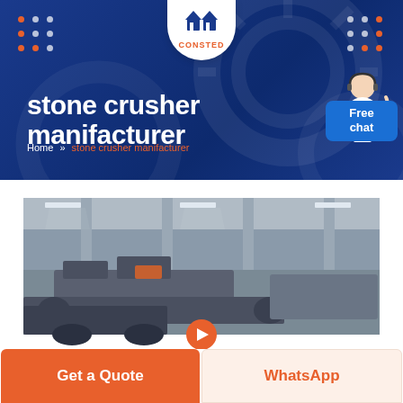[Figure (screenshot): Blue banner header with CONSTED logo (house icon), dot grid decorations in orange and white on both sides, large white bold title 'stone crusher manifacturer', breadcrumb navigation 'Home >> stone crusher manifacturer', customer service person icon, and 'Free chat' blue button]
stone crusher manifacturer
Home » stone crusher manifacturer
[Figure (photo): Industrial factory floor photograph showing heavy stone crushing machinery and equipment in a large warehouse with metal columns and overhead lighting]
Get a Quote
WhatsApp